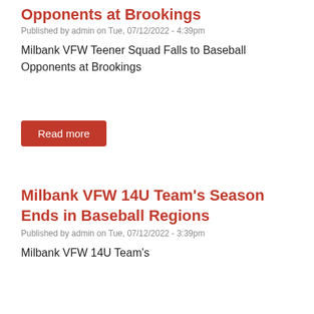Opponents at Brookings
Published by admin on Tue, 07/12/2022 - 4:39pm
Milbank VFW Teener Squad Falls to Baseball Opponents at Brookings
Read more
Milbank VFW 14U Team's Season Ends in Baseball Regions
Published by admin on Tue, 07/12/2022 - 3:39pm
Milbank VFW 14U Team's